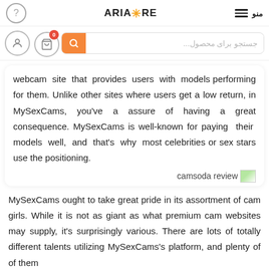ARIASTORE   منو
webcam site that provides users with models performing for them. Unlike other sites where users get a low return, in MySexCams, you've a assure of having a great consequence. MySexCams is well-known for paying their models well, and that's why most celebrities or sex stars use the positioning.
camsoda review
MySexCams ought to take great pride in its assortment of cam girls. While it is not as giant as what premium cam websites may supply, it's surprisingly various. There are lots of totally different talents utilizing MySexCams's platform, and plenty of of them